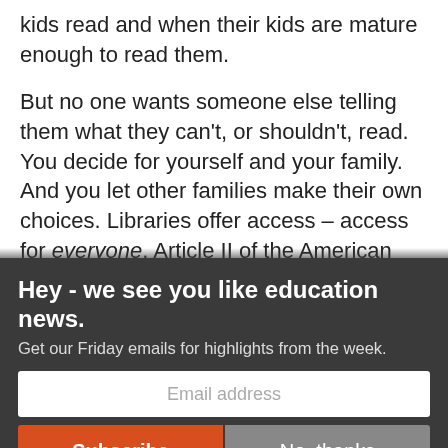kids read and when their kids are mature enough to read them.
But no one wants someone else telling them what they can't, or shouldn't, read. You decide for yourself and your family. And you let other families make their own choices. Libraries offer access – access for everyone. Article II of the American Library Association's Library Bill of Rights states that,
Hey - we see you like education news.
Get our Friday emails for highlights from the week.
Email address
Subscribe
No, thanks